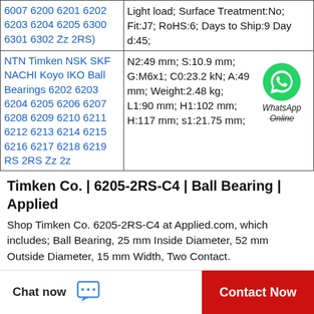| Product Names | Specifications |
| --- | --- |
| 6007 6200 6201 6202 6203 6204 6205 6300 6301 6302 Zz 2RS) | Light load; Surface Treatment:No; Fit:J7; RoHS:6; Days to Ship:9 Day d:45; |
| NTN Timken NSK SKF NACHI Koyo IKO Ball Bearings 6202 6203 6204 6205 6206 6207 6208 6209 6210 6211 6212 6213 6214 6215 6216 6217 6218 6219 RS 2RS Zz 2z | N2:49 mm; S:10.9 mm; G:M6x1; C0:23.2 kN; A:49 mm; Weight:2.48 kg; L1:90 mm; H1:102 mm; H:117 mm; s1:21.75 mm; [WhatsApp Online] |
Timken Co. | 6205-2RS-C4 | Ball Bearing | Applied
Shop Timken Co. 6205-2RS-C4 at Applied.com, which includes; Ball Bearing, 25 mm Inside Diameter, 52 mm Outside Diameter, 15 mm Width, Two Contact.